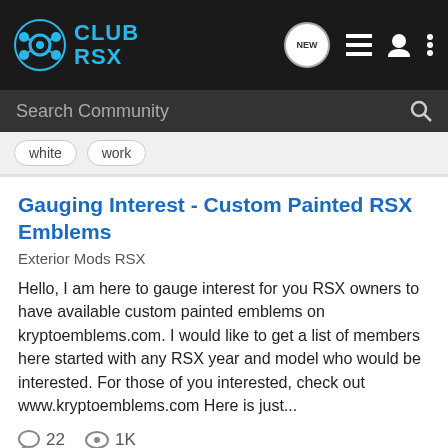CLUB RSX
Search Community
white
work
Gauging Interest - Custom Painted RSX Emblems
Exterior Mods RSX
Hello, I am here to gauge interest for you RSX owners to have available custom painted emblems on kryptoemblems.com. I would like to get a list of members here started with any RSX year and model who would be interested. For those of you interested, check out www.kryptoemblems.com Here is just...
22   1K
KEP · Sep 29, 2009
custom   emblems   gauging   interest   painted   rsx